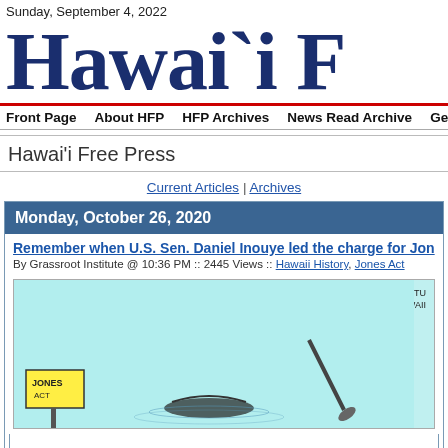Sunday, September 4, 2022
Hawai`i F…
Front Page | About HFP | HFP Archives | News Read Archive | Get HFP by…
Hawai'i Free Press
Current Articles | Archives
Monday, October 26, 2020
Remember when U.S. Sen. Daniel Inouye led the charge for Jon…
By Grassroot Institute @ 10:36 PM :: 2445 Views :: Hawaii History, Jones Act
[Figure (illustration): Cartoon illustration with cyan/teal background, credit reads 'SWANN 2020 GRASSROOT INSTITUTE OF HAWAII'. Shows a Jones Act related scene with a yellow sign on the left and an oar/paddle on the right.]